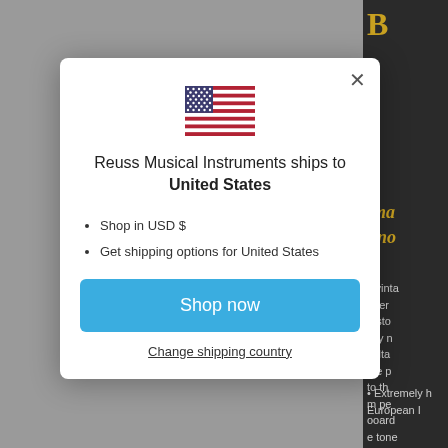[Figure (screenshot): Screenshot of a web modal dialog on Reuss Musical Instruments website showing shipping destination selection with US flag, shop now button, and change shipping country link. Background shows a dark product page partially visible.]
Reuss Musical Instruments ships to United States
Shop in USD $
Get shipping options for United States
Shop now
Change shipping country